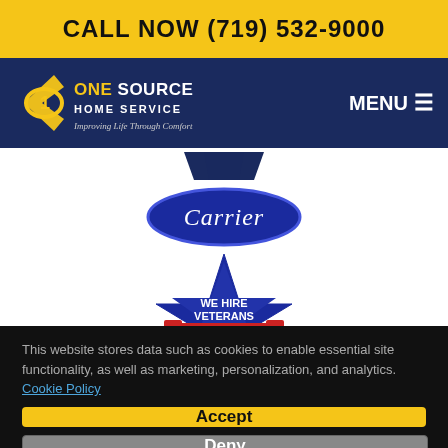CALL NOW (719) 532-9000
[Figure (logo): One Source Home Service logo with tagline 'Improving Life Through Comfort' on navy background]
[Figure (logo): Carrier brand oval logo in blue with white italic text]
[Figure (logo): We Hire Veterans star badge with red white and blue stripes]
This website stores data such as cookies to enable essential site functionality, as well as marketing, personalization, and analytics. Cookie Policy
Accept
Deny